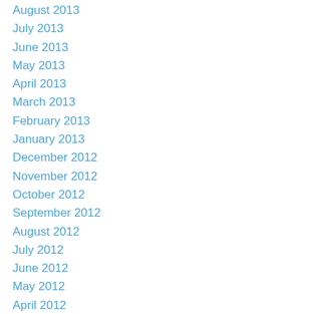August 2013
July 2013
June 2013
May 2013
April 2013
March 2013
February 2013
January 2013
December 2012
November 2012
October 2012
September 2012
August 2012
July 2012
June 2012
May 2012
April 2012
March 2012
February 2012
January 2012